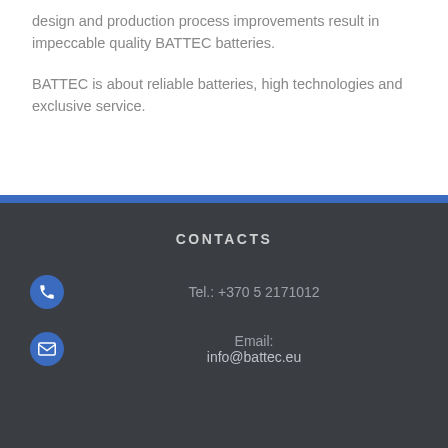design and production process improvements result in impeccable quality BATTEC batteries.
BATTEC is about reliable batteries, high technologies and exclusive service.
CONTACTS
Tel.: +370 5 2171012
Email:
info@battec.eu